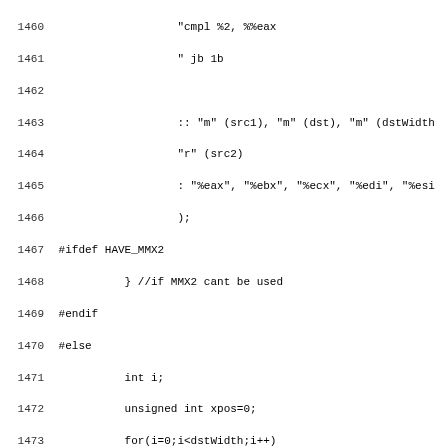Source code listing, lines 1460-1491, showing C/assembly code for image scaling with MMX2 and fallback C implementation.